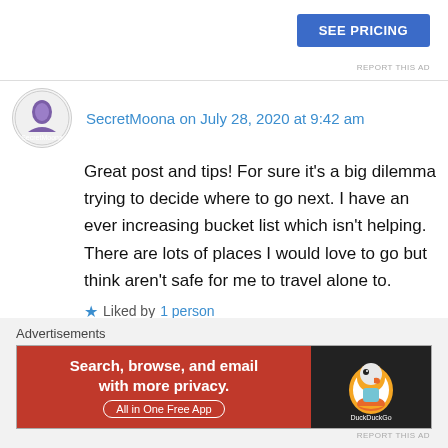[Figure (other): Blue 'SEE PRICING' button in top right corner]
REPORT THIS AD
SecretMoona on July 28, 2020 at 9:42 am
Great post and tips! For sure it's a big dilemma trying to decide where to go next. I have an ever increasing bucket list which isn't helping. There are lots of places I would love to go but think aren't safe for me to travel alone to.
★ Liked by 1 person
↳ Reply
Advertisements
[Figure (other): DuckDuckGo advertisement banner: 'Search, browse, and email with more privacy. All in One Free App' on red background with DuckDuckGo duck logo on dark right panel]